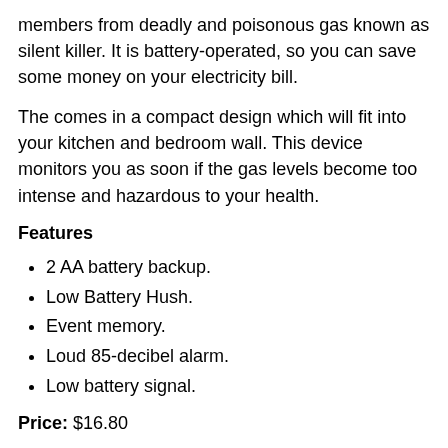members from deadly and poisonous gas known as silent killer. It is battery-operated, so you can save some money on your electricity bill.
The comes in a compact design which will fit into your kitchen and bedroom wall. This device monitors you as soon if the gas levels become too intense and hazardous to your health.
Features
2 AA battery backup.
Low Battery Hush.
Event memory.
Loud 85-decibel alarm.
Low battery signal.
Price: $16.80